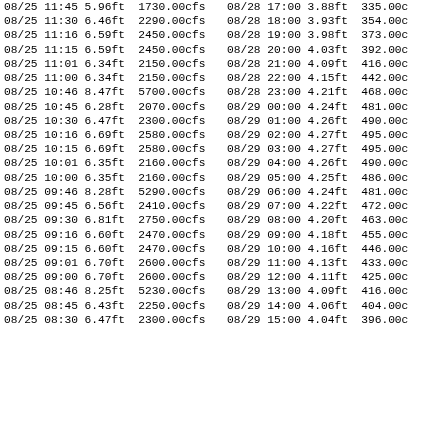| Date | Time+Stage | Flow |
| --- | --- | --- |
| 08/25 | 11:45 | 5.96ft | 1730.00cfs |
| 08/25 | 11:30 | 6.46ft | 2290.00cfs |
| 08/25 | 11:16 | 6.59ft | 2450.00cfs |
| 08/25 | 11:15 | 6.59ft | 2450.00cfs |
| 08/25 | 11:01 | 6.34ft | 2150.00cfs |
| 08/25 | 11:00 | 6.34ft | 2150.00cfs |
| 08/25 | 10:46 | 8.47ft | 5700.00cfs |
| 08/25 | 10:45 | 6.28ft | 2070.00cfs |
| 08/25 | 10:30 | 6.47ft | 2300.00cfs |
| 08/25 | 10:16 | 6.69ft | 2580.00cfs |
| 08/25 | 10:15 | 6.69ft | 2580.00cfs |
| 08/25 | 10:01 | 6.35ft | 2160.00cfs |
| 08/25 | 10:00 | 6.35ft | 2160.00cfs |
| 08/25 | 09:46 | 8.28ft | 5290.00cfs |
| 08/25 | 09:45 | 6.56ft | 2410.00cfs |
| 08/25 | 09:30 | 6.81ft | 2750.00cfs |
| 08/25 | 09:16 | 6.60ft | 2470.00cfs |
| 08/25 | 09:15 | 6.60ft | 2470.00cfs |
| 08/25 | 09:01 | 6.70ft | 2600.00cfs |
| 08/25 | 09:00 | 6.70ft | 2600.00cfs |
| 08/25 | 08:46 | 8.25ft | 5230.00cfs |
| 08/25 | 08:45 | 6.43ft | 2250.00cfs |
| 08/25 | 08:30 | 6.47ft | 2300.00cfs |
| Date | Time+Stage | Flow |
| --- | --- | --- |
| 08/28 | 17:00 | 3.88ft | 335.00cfs |
| 08/28 | 18:00 | 3.93ft | 354.00cfs |
| 08/28 | 19:00 | 3.98ft | 373.00cfs |
| 08/28 | 20:00 | 4.03ft | 392.00cfs |
| 08/28 | 21:00 | 4.09ft | 416.00cfs |
| 08/28 | 22:00 | 4.15ft | 442.00cfs |
| 08/28 | 23:00 | 4.21ft | 468.00cfs |
| 08/29 | 00:00 | 4.24ft | 481.00cfs |
| 08/29 | 01:00 | 4.26ft | 490.00cfs |
| 08/29 | 02:00 | 4.27ft | 495.00cfs |
| 08/29 | 03:00 | 4.27ft | 495.00cfs |
| 08/29 | 04:00 | 4.26ft | 490.00cfs |
| 08/29 | 05:00 | 4.25ft | 486.00cfs |
| 08/29 | 06:00 | 4.24ft | 481.00cfs |
| 08/29 | 07:00 | 4.22ft | 472.00cfs |
| 08/29 | 08:00 | 4.20ft | 463.00cfs |
| 08/29 | 09:00 | 4.18ft | 455.00cfs |
| 08/29 | 10:00 | 4.16ft | 446.00cfs |
| 08/29 | 11:00 | 4.13ft | 433.00cfs |
| 08/29 | 12:00 | 4.11ft | 425.00cfs |
| 08/29 | 13:00 | 4.09ft | 416.00cfs |
| 08/29 | 14:00 | 4.06ft | 404.00cfs |
| 08/29 | 15:00 | 4.04ft | 396.00cfs |